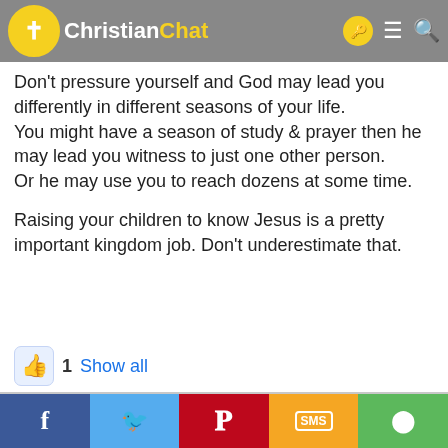Christian Chat
Don't pressure yourself and God may lead you differently in different seasons of your life.
You might have a season of study & prayer then he may lead you witness to just one other person.
Or he may use you to reach dozens at some time.

Raising your children to know Jesus is a pretty important kingdom job. Don't underestimate that.
👍 1   Show all
listenyoumustAll
Active member